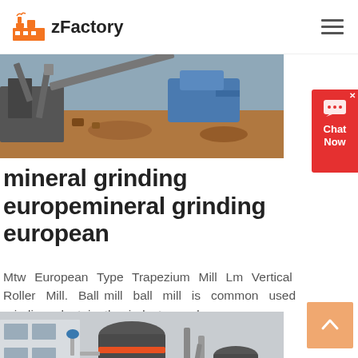zFactory
[Figure (photo): Industrial excavation or mining machinery working outdoors on a dirt terrain with a blue vehicle in the background]
mineral grinding europemineral grinding european
Mtw European Type Trapezium Mill Lm Vertical Roller Mill. Ball mill ball mill is common used grinding plant in the industry and
[Figure (photo): Industrial grinding mill machines with orange-banded cylindrical bodies in a factory setting]